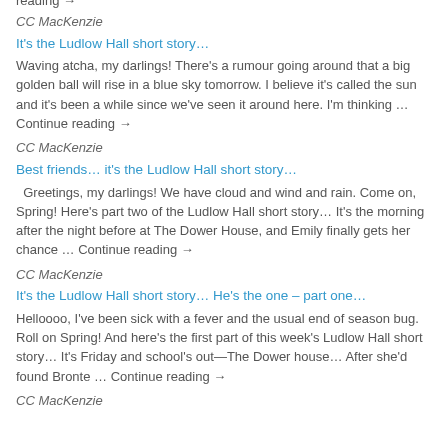reading →
CC MacKenzie
It's the Ludlow Hall short story…
Waving atcha, my darlings! There's a rumour going around that a big golden ball will rise in a blue sky tomorrow. I believe it's called the sun and it's been a while since we've seen it around here. I'm thinking … Continue reading →
CC MacKenzie
Best friends… it's the Ludlow Hall short story…
Greetings, my darlings! We have cloud and wind and rain. Come on, Spring! Here's part two of the Ludlow Hall short story… It's the morning after the night before at The Dower House, and Emily finally gets her chance … Continue reading →
CC MacKenzie
It's the Ludlow Hall short story… He's the one – part one…
Helloooo, I've been sick with a fever and the usual end of season bug. Roll on Spring! And here's the first part of this week's Ludlow Hall short story… It's Friday and school's out—The Dower house… After she'd found Bronte … Continue reading →
CC MacKenzie